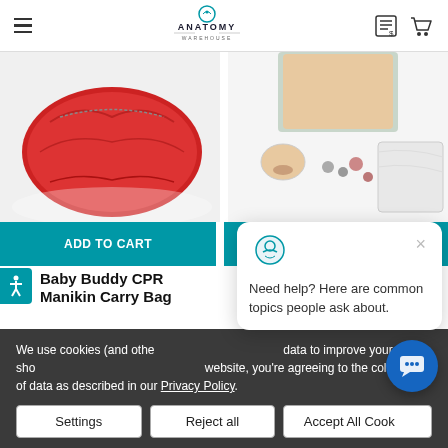Anatomy Warehouse
[Figure (photo): Product image: red carry bag on the left side]
[Figure (photo): Product image: CPR manikin with carry bag parts and accessories on the right side]
ADD TO CART
ADD TO CART
Baby Buddy CPR Manikin Carry Bag
Brad CPR Manikin With Carry Bag
Life/Form
We use cookies (and other similar tools) to collect data to improve your shopping experience. By using this website, you're agreeing to the collection of data as described in our Privacy Policy.
Need help? Here are common topics people ask about.